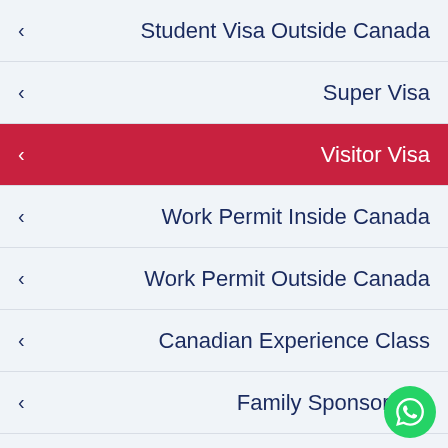Student Visa Outside Canada
Super Visa
Visitor Visa
Work Permit Inside Canada
Work Permit Outside Canada
Canadian Experience Class
Family Sponsorship
Arranges employment lett